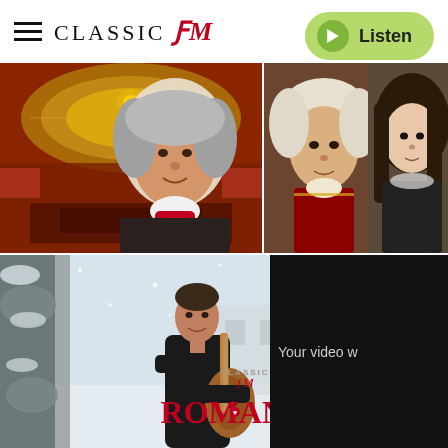[Figure (logo): Classic FM logo with hamburger menu icon]
[Figure (other): Listen button with play icon on green pill background]
[Figure (photo): Top-left: Beethoven portrait overlaid on ornate concert hall interior with red/gold decor]
[Figure (photo): Top-right: Mozart portrait alongside portrait of a woman with dark hair, both in historical dress]
[Figure (photo): Bottom: Guitarist in winter snow scene holding classical guitar, with Classic FM Romance branding]
[Figure (other): Black panel with text 'Your video w' (partially visible)]